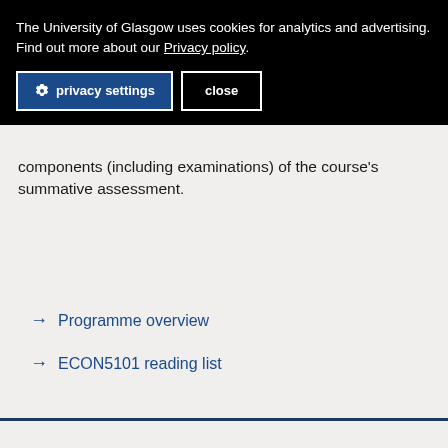The University of Glasgow uses cookies for analytics and advertising. Find out more about our Privacy policy.
privacy settings
close
components (including examinations) of the course's summative assessment.
→ Programme overview
→ ECON5101 reading list